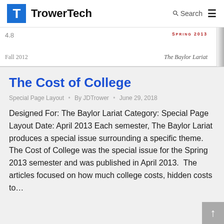TrowerTech  Search  ☰
[Figure (other): Partial newspaper clipping showing 'Fall 2012', 'Spring 2013', and 'The Baylor Lariat' text]
The Cost of College
Special Page Layout • By JDTrower • June 29, 2018
Designed For: The Baylor Lariat Category: Special Page Layout Date: April 2013 Each semester, The Baylor Lariat produces a special issue surrounding a specific theme. The Cost of College was the special issue for the Spring 2013 semester and was published in April 2013. The articles focused on how much college costs, hidden costs to…